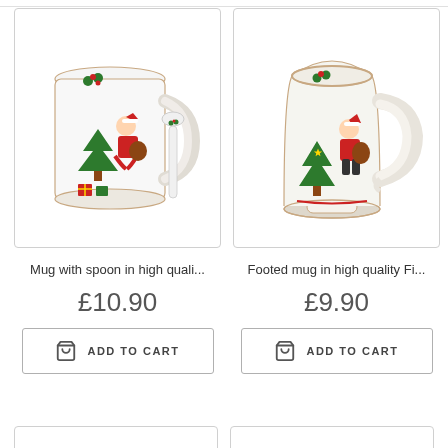[Figure (photo): Christmas mug with spoon - white ceramic mug featuring Santa Claus with Christmas tree design, displayed with a white ceramic spoon]
Mug with spoon in high quali...
£10.90
ADD TO CART
[Figure (photo): Footed Christmas mug - white fine china footed mug with Santa Claus and Christmas tree design, ornate styling]
Footed mug in high quality Fi...
£9.90
ADD TO CART